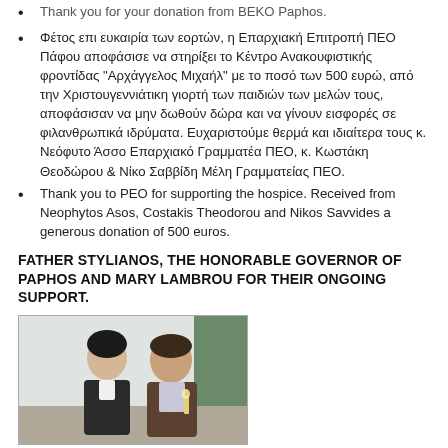Thank you for your donation from BEKO Paphos.
Φέτος επι ευκαιρία των εορτών, η Επαρχιακή Επιτροπή ΠΕΟ Πάφου αποφάσισε να στηρίξει το Κέντρο Ανακουφιστικής φροντίδας "Αρχάγγελος Μιχαήλ" με το ποσό των 500 ευρώ, από την Χριστουγεννιάτικη γιορτή των παιδιών των μελών τους, αποφάσισαν να μην δωθούν δώρα και να γίνουν εισφορές σε φιλανθρωπικά ιδρύματα. Ευχαριστούμε θερμά και ιδιαίτερα τους κ. Νεόφυτο Άσσο Επαρχιακό Γραμματέα ΠΕΟ, κ. Κωστάκη Θεοδώρου & Νίκο Σαββίδη Μέλη Γραμματείας ΠΕΟ.
Thank you to PEO for supporting the hospice. Received from Neophytos Asos, Costakis Theodorou and Nikos Savvides a generous donation of 500 euros.
FATHER STYLIANOS, THE HONORABLE GOVERNOR OF PAPHOS AND MARY LAMBROU FOR THEIR ONGOING SUPPORT.
[Figure (photo): Two people standing together, a woman in dark clothing on the left and a man in a vest on the right, in an indoor setting.]